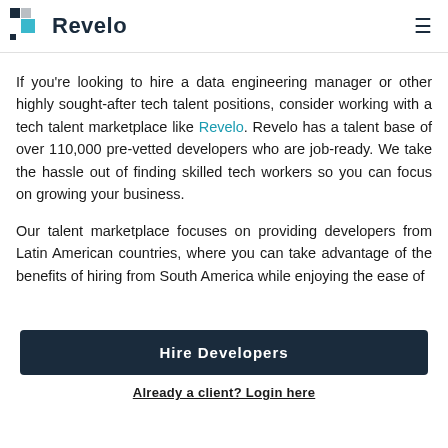Revelo
If you're looking to hire a data engineering manager or other highly sought-after tech talent positions, consider working with a tech talent marketplace like Revelo. Revelo has a talent base of over 110,000 pre-vetted developers who are job-ready. We take the hassle out of finding skilled tech workers so you can focus on growing your business.
Our talent marketplace focuses on providing developers from Latin American countries, where you can take advantage of the benefits of hiring from South America while enjoying the ease of
Hire Developers
Already a client? Login here